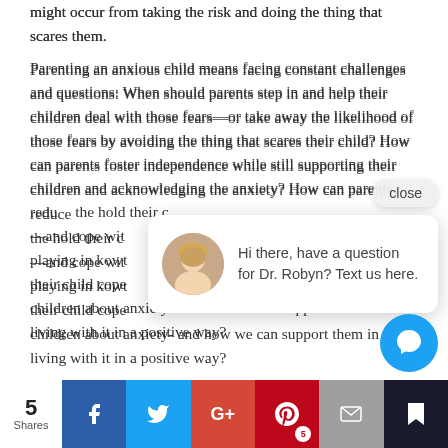might occur from taking the risk and doing the thing that scares them.
Parenting an anxious child means facing constant challenges and questions: When should parents step in and help their children deal with those fears—or take away the likelihood of those fears by avoiding the thing that scares their child? How can parents foster independence while still supporting their children and acknowledging the anxiety? How can parents reduce the hold their c[hat popup obscures]—and cope wit[h obscured] playing in kowt[owing to] their child cope[obscured] children about anxiety- and how we can support them in living with it in a positive way?
[Figure (other): Chat popup with Dr. Robyn avatar and text: Hi there, have a question for Dr. Robyn? Text us here.]
5 Shares | Facebook | Twitter | Google+ | Pinterest 5 | Email | Bookmark